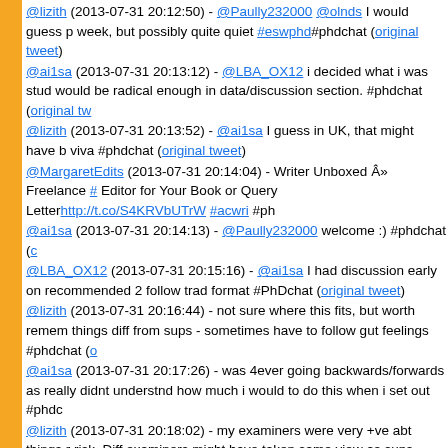@lizith (2013-07-31 20:12:50) - @Paully232000 @olnds I would guess p week, but possibly quite quiet #eswphd#phdchat (original tweet)
@ai1sa (2013-07-31 20:13:12) - @LBA_OX12 i decided what i was stud would be radical enough in data/discussion section. #phdchat (original tw
@lizith (2013-07-31 20:13:52) - @ai1sa I guess in UK, that might have b viva #phdchat (original tweet)
@MargaretEdits (2013-07-31 20:14:04) - Writer Unboxed » Freelance # Editor for Your Book or Query Letter http://t.co/S4KRVbUTrW #acwri #ph
@ai1sa (2013-07-31 20:14:13) - @Paully232000 welcome :) #phdchat (c
@LBA_OX12 (2013-07-31 20:15:16) - @ai1sa I had discussion early on recommended 2 follow trad format #PhDchat (original tweet)
@lizith (2013-07-31 20:16:44) - not sure where this fits, but worth remem things diff from sups - sometimes have to follow gut feelings #phdchat (o
@ai1sa (2013-07-31 20:17:26) - was 4ever going backwards/forwards as really didnt understnd how much i would to do this when i set out #phdc
@lizith (2013-07-31 20:18:02) - my examiners were very +ve abt things r risk. Diff examiners might have taken same view as sups. #phdchat (orig
@HeleneTyrrell (2013-07-31 20:18:34) - "A carefully crafted sentence ... tricky terrain like a well-hewn walking stick." #phdwriteup #PhDchat (origi
@ai1sa (2013-07-31 20:19:09) - @LBA_OX12 yes, i found there was en i didnt want to make it unrecognizable and therefore unpassable #pdcha
@lizith (2013-07-31 20:19:29) - #phdchat have to get DH from station - b next week (original tweet)
@ai1sa (2013-07-31 20:20:40) - @lizith i had diff examiners...